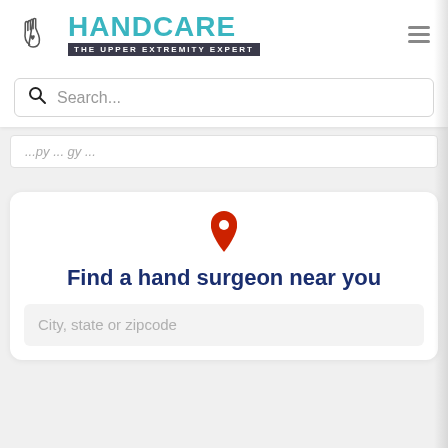[Figure (logo): HandCare logo with hand icon and tagline 'THE UPPER EXTREMITY EXPERT']
Search...
...py...gy...
[Figure (illustration): Red location pin icon]
Find a hand surgeon near you
City, state or zipcode